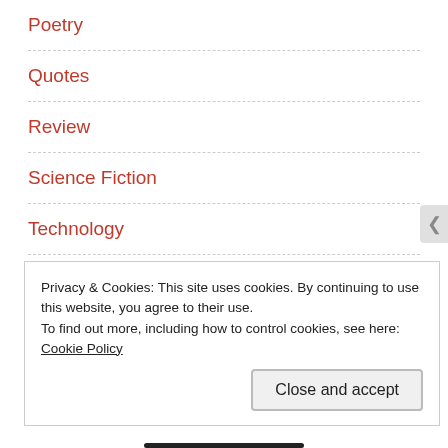Poetry
Quotes
Review
Science Fiction
Technology
Thoughts
Traditional Fantasy
Privacy & Cookies: This site uses cookies. By continuing to use this website, you agree to their use.
To find out more, including how to control cookies, see here: Cookie Policy
Close and accept